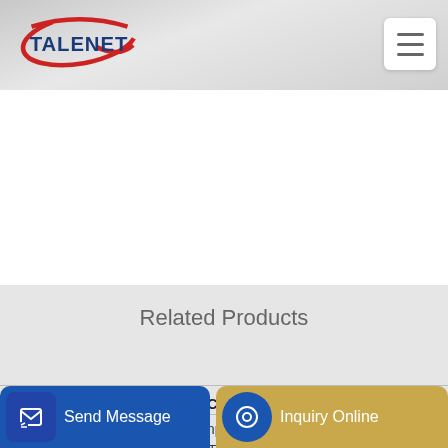[Figure (logo): TALENET company logo with red oval swoosh and dark blue bold text]
Related Products
DAFCO READY MIXED CONCRETE PLANT CO WLL
Trailed concrete pump from China for sale 30
Send Message
Inquiry Online